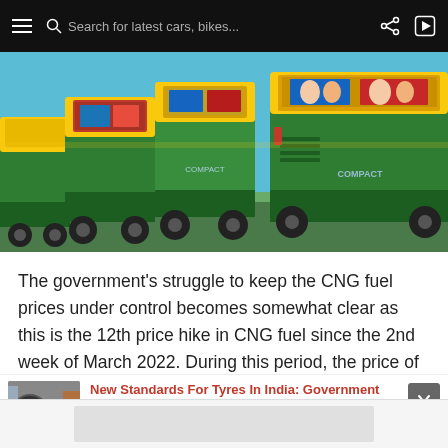Search for latest cars, bikes...
[Figure (photo): Row of green and yellow CNG auto-rickshaws parked, with political posters/stickers visible on their windshields, photographed from the rear-side angle.]
The government's struggle to keep the CNG fuel prices under control becomes somewhat clear as this is the 12th price hike in CNG fuel since the 2nd week of March 2022. During this period, the price of the CNG has increased by more than Rs 17.
[Figure (photo): Thumbnail image of tyres]
New Standards For Tyres In India: Government Regulations For Wet Grip, Rolling Resistance &